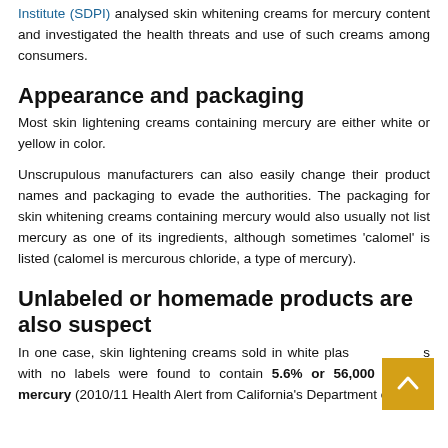Institute (SDPI) analysed skin whitening creams for mercury content and investigated the health threats and use of such creams among consumers.
Appearance and packaging
Most skin lightening creams containing mercury are either white or yellow in color.
Unscrupulous manufacturers can also easily change their product names and packaging to evade the authorities. The packaging for skin whitening creams containing mercury would also usually not list mercury as one of its ingredients, although sometimes 'calomel' is listed (calomel is mercurous chloride, a type of mercury).
Unlabeled or homemade products are also suspect
In one case, skin lightening creams sold in white plastic containers with no labels were found to contain 5.6% or 56,000 ppm of mercury (2010/11 Health Alert from California's Department of